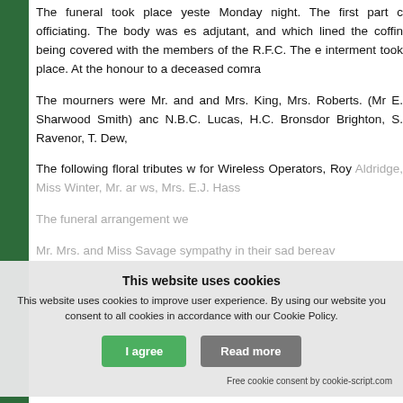The funeral took place yeste Monday night. The first part c officiating. The body was es adjutant, and which lined the coffin being covered with the members of the R.F.C. The e interment took place. At the honour to a deceased comra
The mourners were Mr. and and Mrs. King, Mrs. Roberts. (Mr E. Sharwood Smith) anc N.B.C. Lucas, H.C. Bronsdor Brighton, S. Ravenor, T. Dew,
The following floral tributes w for Wireless Operators, Roy Aldridge, Miss Winter, Mr. ar ws, Mrs. E.J. Hass
The funeral arrangement we
Mr. Mrs. and Miss Savage sympathy in their sad bereav
This website uses cookies
This website uses cookies to improve user experience. By using our website you consent to all cookies in accordance with our Cookie Policy.
I agree | Read more
Free cookie consent by cookie-script.com